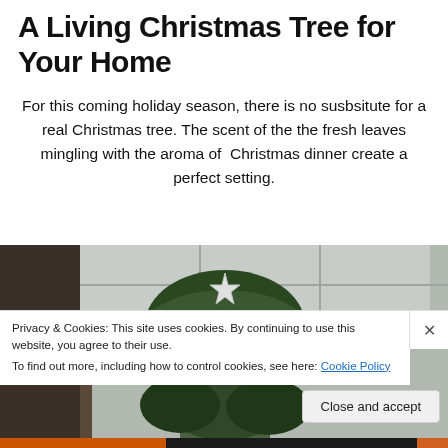A Living Christmas Tree for Your Home
For this coming holiday season, there is no susbsitute for a real Christmas tree. The scent of the the fresh leaves mingling with the aroma of  Christmas dinner create a perfect setting.
[Figure (photo): Indoor photo showing a decorated Christmas tree with a star topper and red ornaments, taken from below looking up toward a ceiling with large windows.]
Privacy & Cookies: This site uses cookies. By continuing to use this website, you agree to their use.
To find out more, including how to control cookies, see here: Cookie Policy
Close and accept